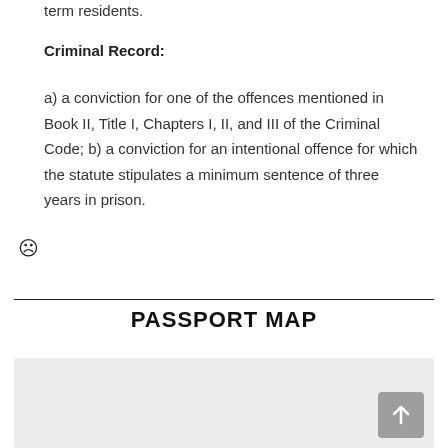term residents.
Criminal Record:
a) a conviction for one of the offences mentioned in Book II, Title I, Chapters I, II, and III of the Criminal Code; b) a conviction for an intentional offence for which the statute stipulates a minimum sentence of three years in prison.
PASSPORT MAP
[Figure (map): Passport map image area, light gray background, partially visible]